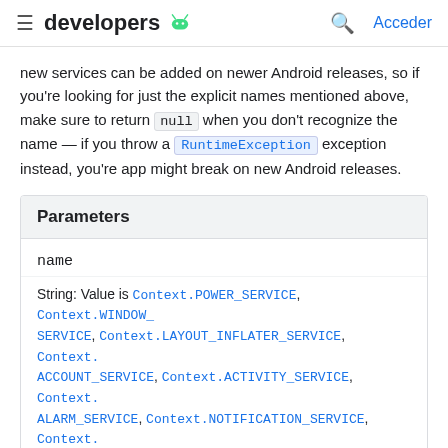developers
new services can be added on newer Android releases, so if you're looking for just the explicit names mentioned above, make sure to return null when you don't recognize the name — if you throw a RuntimeException exception instead, you're app might break on new Android releases.
| Parameters |
| --- |
| name |
| String: Value is Context.POWER_SERVICE, Context.WINDOW_SERVICE, Context.LAYOUT_INFLATER_SERVICE, Context.ACCOUNT_SERVICE, Context.ACTIVITY_SERVICE, Context.ALARM_SERVICE, Context.NOTIFICATION_SERVICE, Context.ACCESSIBILITY_SERVICE, Context.CAPTIONING_SERVICE, Context.KEYGUARD_SERVICE, Context.LOCATION_SERVICE, Context.SEARCH_SERVICE, Context.SENSOR_SERVICE |